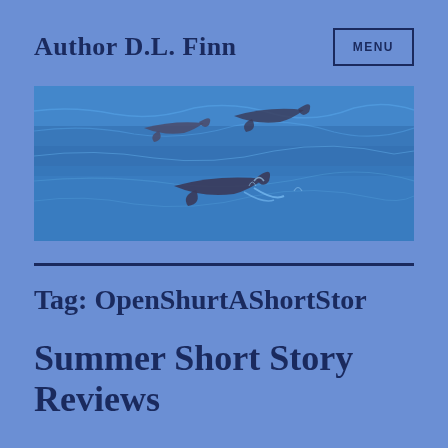Author D.L. Finn
[Figure (photo): Banner photo of dolphins swimming in blue ocean water]
Tag: OpenShurtAShortStor
Summer Short Story Reviews